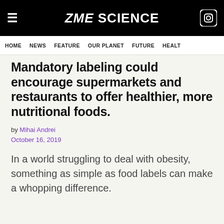ZME SCIENCE
HOME NEWS FEATURE OUR PLANET FUTURE HEALT
Mandatory labeling could encourage supermarkets and restaurants to offer healthier, more nutritional foods.
by Mihai Andrei
October 16, 2019
In a world struggling to deal with obesity, something as simple as food labels can make a whopping difference.